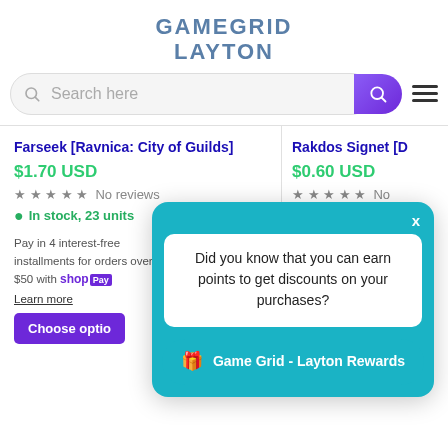GAMEGRID LAYTON
[Figure (screenshot): Search bar with purple gradient button and hamburger menu icon]
Farseek [Ravnica: City of Guilds]
$1.70 USD
No reviews
In stock, 23 units
Pay in 4 interest-free installments for orders over $50 with shop Pay Learn more
Choose optio...
Rakdos Signet [D...
$0.60 USD
No
In stock, 38 uni...
...50 with shop P
Did you know that you can earn points to get discounts on your purchases?
Game Grid - Layton Rewards